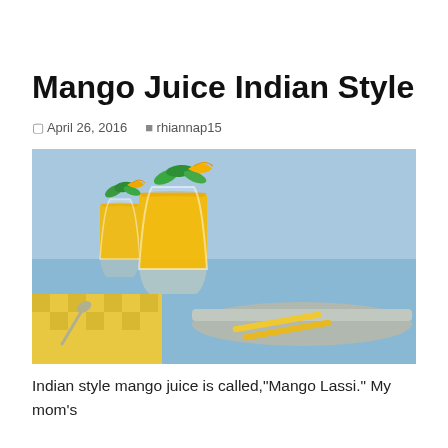Mango Juice Indian Style
April 26, 2016  rhiannap15
[Figure (photo): Two glasses of golden yellow mango lassi smoothie drinks garnished with mint leaves and mango slices, placed on a yellow checkered surface with a silver tray and blue water background]
Indian style mango juice is called,"Mango Lassi." My mom's